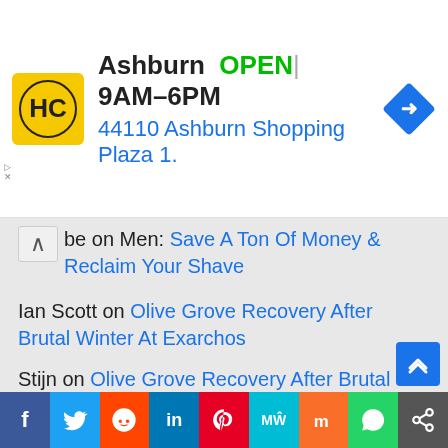[Figure (other): Advertisement banner for HC store in Ashburn. Yellow square logo with HC text, store name Ashburn with OPEN label and hours 9AM-6PM, address 44110 Ashburn Shopping Plaza 1., blue navigation diamond icon.]
be on Men: Save A Ton Of Money & Reclaim Your Shave
Ian Scott on Olive Grove Recovery After Brutal Winter At Exarchos
Stijn on Olive Grove Recovery After Brutal Winter At Exarchos
Olive Grove Recovery After Brutal Winter At Exarchos – Ian Scott on My Olive Grove – Cleaning Out The Weeds
[Figure (other): Social sharing bar with icons: Facebook, Twitter, Reddit, LinkedIn, Pinterest, MeWe, Mix, WhatsApp, Share]